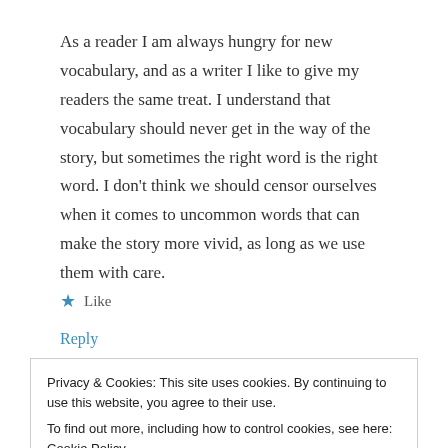As a reader I am always hungry for new vocabulary, and as a writer I like to give my readers the same treat. I understand that vocabulary should never get in the way of the story, but sometimes the right word is the right word. I don't think we should censor ourselves when it comes to uncommon words that can make the story more vivid, as long as we use them with care.
★ Like
Reply
Privacy & Cookies: This site uses cookies. By continuing to use this website, you agree to their use.
To find out more, including how to control cookies, see here: Cookie Policy
Close and accept